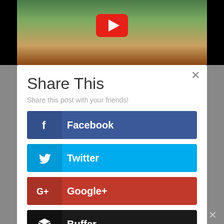[Figure (screenshot): YouTube video thumbnail showing outdoor scene with trees and furniture]
Share This
Share this post with your friends!
Facebook
Twitter
Google+
Buffer
Pinterest
Gmail